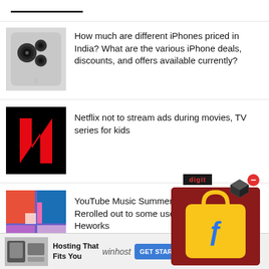[Figure (screenshot): Webpage listing of tech news articles with thumbnails]
How much are different iPhones priced in India? What are the various iPhone deals, discounts, and offers available currently?
Netflix not to stream ads during movies, TV series for kids
YouTube Music Summer Re[cap] rolled out to some users: He[re's how it] works
[Figure (logo): Flipkart advertisement overlay with digit badge and cube icon]
Hosting That Fits You  winhost  GET STARTED  els